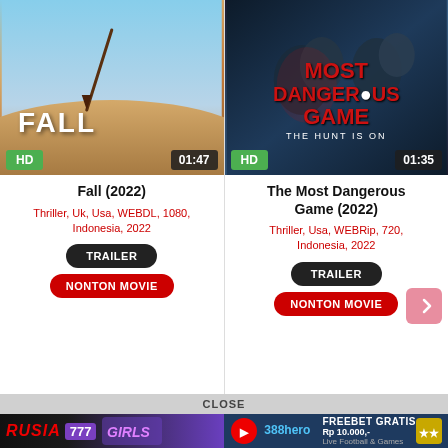[Figure (photo): Movie card for Fall (2022) showing poster with desert canyon scene and person falling, HD badge, 01:47 duration]
Fall (2022)
Thriller, Uk, Usa, WEBDL, 1080, Indonesia, 2022
TRAILER
NONTON MOVIE
[Figure (photo): Movie card for The Most Dangerous Game (2022) showing action movie poster with two men, HD badge, 01:35 duration]
The Most Dangerous Game (2022)
Thriller, Usa, WEBRip, 720, Indonesia, 2022
TRAILER
NONTON MOVIE
CLOSE
[Figure (infographic): Advertisement banner: RUSIA777 casino ad on left, 388hero FREEBET GRATIS Rp 10.000,- ad on right]